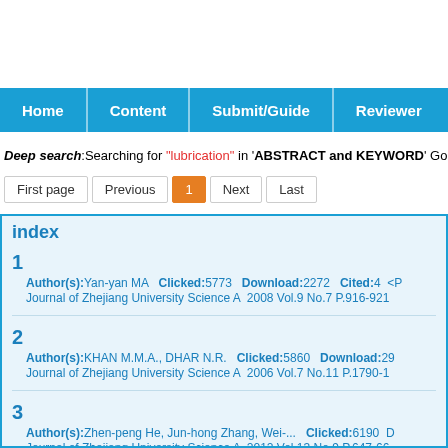Home | Content | Submit/Guide | Reviewer
Deep search:Searching for "lubrication" in 'ABSTRACT and KEYWORD' Go
First page | Previous | 1 | Next | Last
index
1 Author(s):Yan-yan MA Clicked:5773 Download:2272 Cited:4 <P Journal of Zhejiang University Science A 2008 Vol.9 No.7 P.916-921
2 Author(s):KHAN M.M.A., DHAR N.R. Clicked:5860 Download:29 Journal of Zhejiang University Science A 2006 Vol.7 No.11 P.1790-1
3 Author(s):Zhen-peng He, Jun-hong Zhang, Wei-... Clicked:6190 D Journal of Zhejiang University Science A 2012 Vol.13 No.9 P.647-66